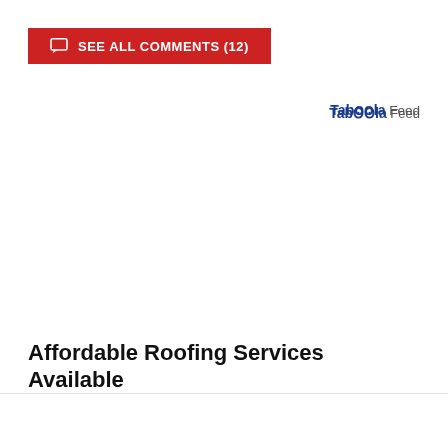SEE ALL COMMENTS (12)
Taboola Feed
Affordable Roofing Services Available